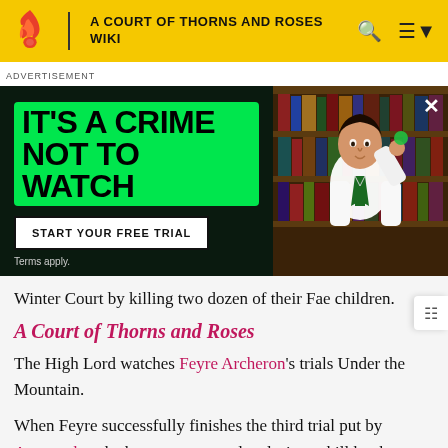A COURT OF THORNS AND ROSES WIKI
[Figure (screenshot): Hulu advertisement banner with dark background. Left side shows green rounded rectangle with bold text 'IT'S A CRIME NOT TO WATCH', a white button 'START YOUR FREE TRIAL', 'Terms apply.', and green 'hulu' logo. Right side shows a photo of a young man in a white shirt and green tie holding something up, in front of bookshelves.]
Winter Court by killing two dozen of their Fae children.
A Court of Thorns and Roses
The High Lord watches Feyre Archeron's trials Under the Mountain.
When Feyre successfully finishes the third trial put by Amarantha, she becomes enraged and tries to kill her by breaking all the bones in her body. When Tamlin is free